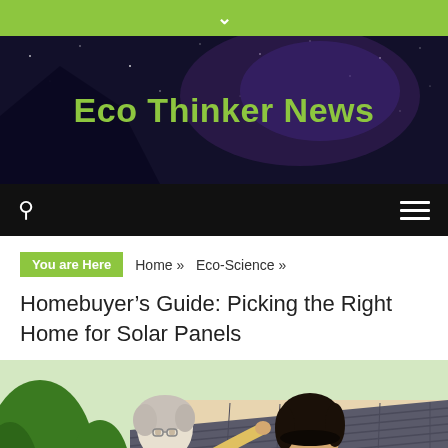▾
Eco Thinker News
🔍 ≡
You are Here   Home »   Eco-Science »
Homebuyer's Guide: Picking the Right Home for Solar Panels
[Figure (photo): Two people (older man with grey hair in yellow shirt and woman with dark hair) viewed from behind, looking at a house with a tiled roof and white walls, with green foliage visible to the left.]